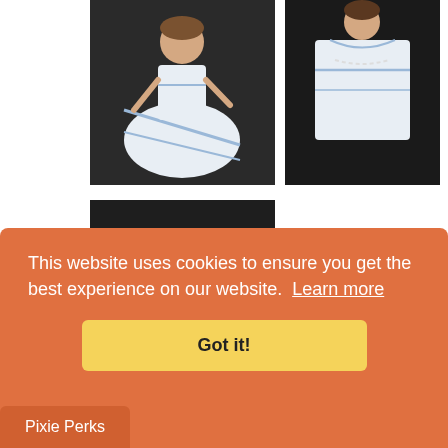[Figure (photo): Doll wearing a white and blue layered dress, front view, dark background]
[Figure (photo): Close-up of doll with white and blue dress, showing neckline detail, dark background]
[Figure (photo): Doll dress on stand showing full skirt with blue trim, dark background]
Layers and Lines 1853 Dress 18" Doll Clothes Pattern
This website uses cookies to ensure you get the best experience on our website.  Learn more
Got it!
Pixie Perks